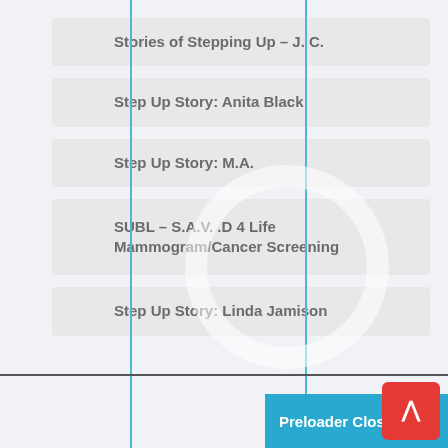Stories of Stepping Up – J. C.
Step Up Story: Anita Black
Step Up Story: M.A.
SUBL – S.A.V. .D 4 Life Mammogram/Cancer Screening
Step Up Story: Linda Jamison
Preloader Close